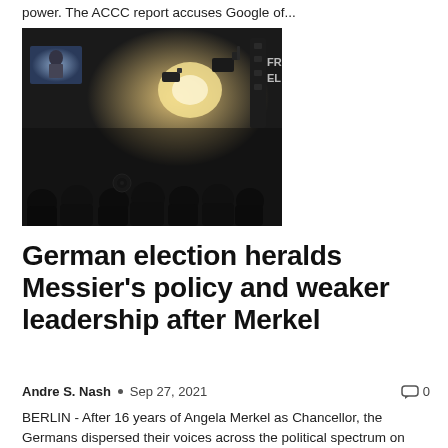power. The ACCC report accuses Google of...
[Figure (photo): Dark indoor crowd scene with cameras and lighting equipment, a person visible on a screen in the background]
German election heralds Messier’s policy and weaker leadership after Merkel
Andre S. Nash • Sep 27, 2021 💬 0
BERLIN - After 16 years of Angela Merkel as Chancellor, the Germans dispersed their voices across the political spectrum on Sunday in elections to replace her, a fractured return that heralds a more complicated political era in Germany and...